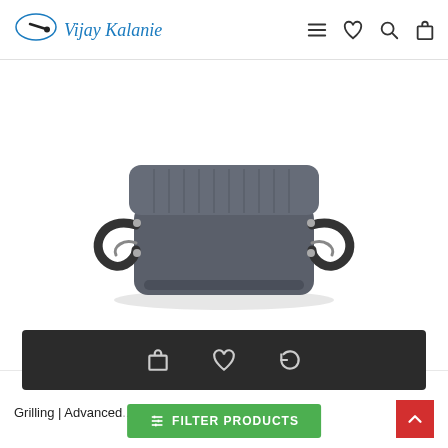Vijay Kalanie — website header with logo and navigation icons
[Figure (photo): Dark grey nonstick square grill pan with ridged lid and two looped handles, photographed on white background]
[Figure (screenshot): Dark action bar with shopping bag, heart/wishlist, and return/exchange icons]
Grilling | Advanced... ed Nonstick Tw
FILTER PRODUCTS
Back to top arrow button